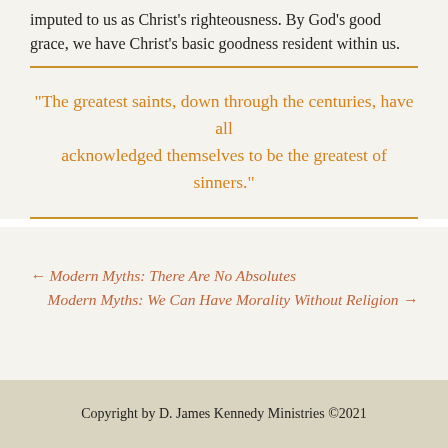imputed to us as Christ's righteousness. By God's good grace, we have Christ's basic goodness resident within us.
“The greatest saints, down through the centuries, have all acknowledged themselves to be the greatest of sinners.”
← Modern Myths: There Are No Absolutes
Modern Myths: We Can Have Morality Without Religion →
Copyright by D. James Kennedy Ministries ©2021